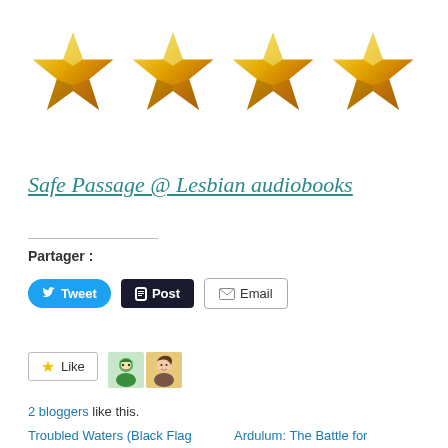[Figure (illustration): Four gold 3D stars in a row, representing a 4-star rating]
Safe Passage @ Lesbian audiobooks
Partager :
[Figure (screenshot): Share buttons: Tweet (blue), Post (dark), Email (outlined)]
[Figure (screenshot): Like button with star icon and two blogger avatar thumbnails]
2 bloggers like this.
Troubled Waters (Black Flag
Ardulum: The Battle for